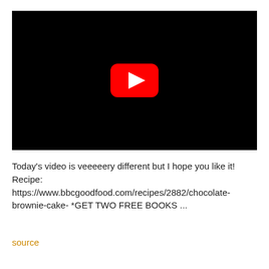[Figure (screenshot): YouTube video thumbnail placeholder — black rectangle with YouTube play button (red rounded rectangle with white triangle) centered]
Today's video is veeeeery different but I hope you like it! Recipe: https://www.bbcgoodfood.com/recipes/2882/chocolate-brownie-cake- *GET TWO FREE BOOKS ...
source